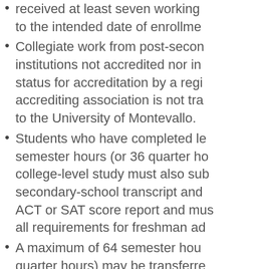received at least seven working to the intended date of enrollment.
Collegiate work from post-secondary institutions not accredited nor in status for accreditation by a regional accrediting association is not transferred to the University of Montevallo.
Students who have completed less than semester hours (or 36 quarter hours) of college-level study must also submit a secondary-school transcript and ACT or SAT score report and must meet all requirements for freshman admission.
A maximum of 64 semester hours (96 quarter hours) may be transferred for credit from either a community or junior college.
Medical Report
Upon admission to the University, enrolled students must submit:
Two self-completed forms, including the Student Medical History Form and the Tuberculosis Risk Questionnaire. Downloadable forms with instructions can be found on this webpage: www.montevallo.edu/student-health